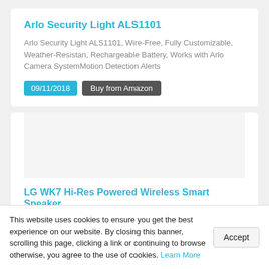Arlo Security Light ALS1101
Arlo Security Light ALS1101, Wire-Free, Fully Customizable, Weather-Resistan, Rechargeable Battery, Works with Arlo Camera SystemMotion Detection Alerts
09/11/2018  Buy from Amazon
[Figure (other): Empty image placeholder area for LG WK7 product listing]
LG WK7 Hi-Res Powered Wireless Smart Speaker
LG WK7 Hi-Res Powered Wireless Smart Speaker: Google
This website uses cookies to ensure you get the best experience on our website. By closing this banner, scrolling this page, clicking a link or continuing to browse otherwise, you agree to the use of cookies. Learn More